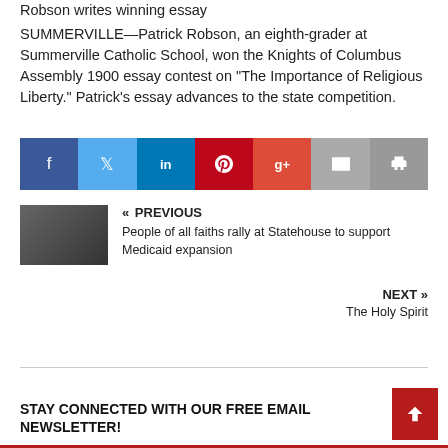Robson writes winning essay
SUMMERVILLE—Patrick Robson, an eighth-grader at Summerville Catholic School, won the Knights of Columbus Assembly 1900 essay contest on “The Importance of Religious Liberty.” Patrick’s essay advances to the state competition.
[Figure (infographic): Social sharing bar with buttons for Facebook, Twitter, LinkedIn, Pinterest, Google+, Email, and Print]
« PREVIOUS
People of all faiths rally at Statehouse to support Medicaid expansion
NEXT »
The Holy Spirit
STAY CONNECTED WITH OUR FREE EMAIL NEWSLETTER!